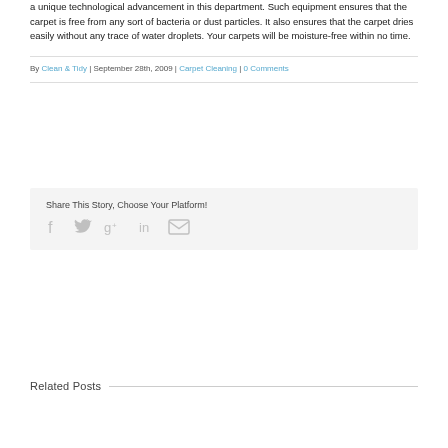a unique technological advancement in this department. Such equipment ensures that the carpet is free from any sort of bacteria or dust particles. It also ensures that the carpet dries easily without any trace of water droplets. Your carpets will be moisture-free within no time.
By Clean & Tidy | September 28th, 2009 | Carpet Cleaning | 0 Comments
Share This Story, Choose Your Platform!
[Figure (infographic): Social share icons: Facebook, Twitter, Google+, LinkedIn, Email]
Related Posts